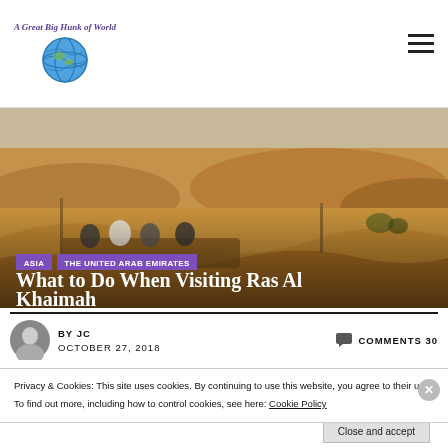A Great Big Hunk of World
[Figure (photo): Desert landscape with sand dunes and people sitting on a rug in the foreground. Ras Al Khaimah, UAE.]
ASIA
THE UNITED ARAB EMIRATES
What to Do When Visiting Ras Al Khaimah
BY JC
OCTOBER 27, 2018
COMMENTS 30
Privacy & Cookies: This site uses cookies. By continuing to use this website, you agree to their use.
To find out more, including how to control cookies, see here: Cookie Policy
Close and accept